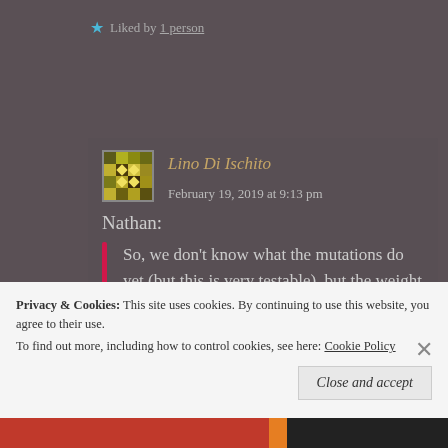Liked by 1 person
Lino Di Ischito  February 19, 2019 at 9:13 pm
Nathan:
So, we don't know what the mutations do yet (but this is very testable), but the weight of the evidence is strongly in favor of their enhancing
Privacy & Cookies: This site uses cookies. By continuing to use this website, you agree to their use. To find out more, including how to control cookies, see here: Cookie Policy
Close and accept